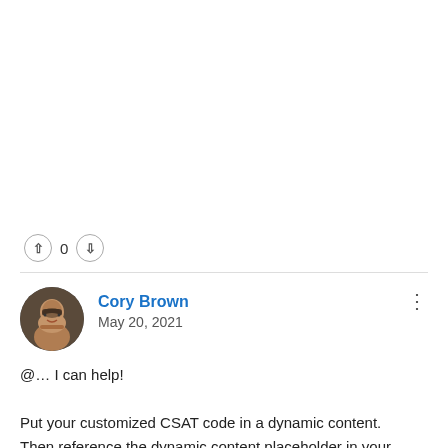[Figure (other): Vote buttons row showing upvote button (circle with up arrow), count 0, and downvote button (circle with down arrow)]
[Figure (photo): Circular avatar photo of Cory Brown, a man with short dark hair and beard]
Cory Brown
May 20, 2021
@... I can help!

Put your customized CSAT code in a dynamic content. Then reference the dynamic content placeholder in your automation. Dynamic content doesn't have the same byte limit